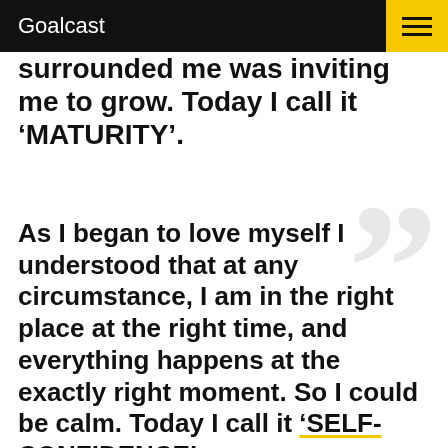Goalcast
surrounded me was inviting me to grow. Today I call it ‘MATURITY’.
As I began to love myself I understood that at any circumstance, I am in the right place at the right time, and everything happens at the exactly right moment. So I could be calm. Today I call it ‘SELF-CONFIDENCE’.